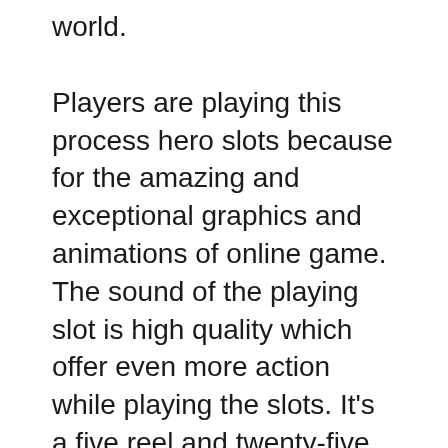world.
Players are playing this process hero slots because for the amazing and exceptional graphics and animations of online game. The sound of the playing slot is high quality which offer even more action while playing the slots. It’s a five reel and twenty-five line video superslot slot online casino printer.
How perform online slots is up to the player and what they’re looking in support of. Some online places require a set investment with the players end. Where they have to pay within a certain amount into their “banking fund” It will probably be like getting chips for just a normal casino. These virtual chips are used perform the video poker machines. You